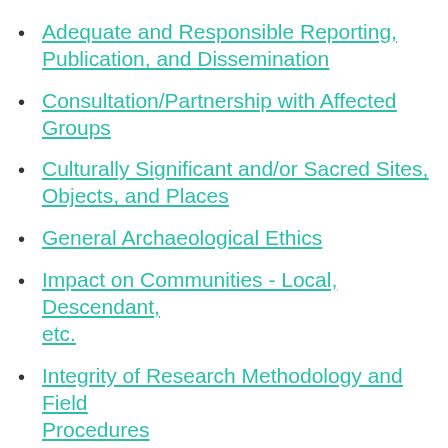Adequate and Responsible Reporting, Publication, and Dissemination
Consultation/Partnership with Affected Groups
Culturally Significant and/or Sacred Sites, Objects, and Places
General Archaeological Ethics
Impact on Communities - Local, Descendant, etc.
Integrity of Research Methodology and Field Procedures
International Law
Local, State, Federal, and Tribal Laws
Management of Cultural Resources, Heritage,